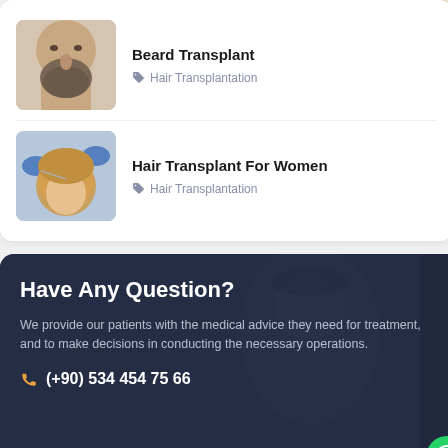[Figure (photo): Close-up photo of a man's lower face and beard]
Beard Transplant
Hair Transplantation
[Figure (photo): Doctor with blue gloves administering hair treatment to a blonde woman]
Hair Transplant For Women
Hair Transplantation
Have Any Question?
We provide our patients with the medical advice they need for treatment, and to make decisions in conducting the necessary operations.
(+90) 534 454 75 66